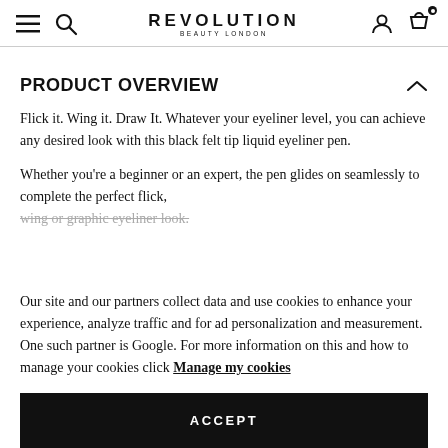REVOLUTION BEAUTY LONDON
PRODUCT OVERVIEW
Flick it. Wing it. Draw It. Whatever your eyeliner level, you can achieve any desired look with this black felt tip liquid eyeliner pen.
Whether you’re a beginner or an expert, the pen glides on seamlessly to complete the perfect flick, wing or graphic eyeliner look.
Our site and our partners collect data and use cookies to enhance your experience, analyze traffic and for ad personalization and measurement. One such partner is Google. For more information on this and how to manage your cookies click Manage my cookies
ACCEPT